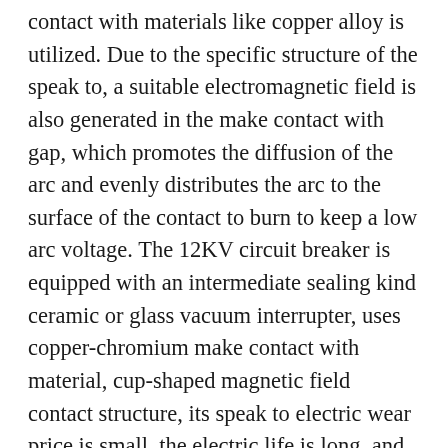contact with materials like copper alloy is utilized. Due to the specific structure of the speak to, a suitable electromagnetic field is also generated in the make contact with gap, which promotes the diffusion of the arc and evenly distributes the arc to the surface of the contact to burn to keep a low arc voltage. The 12KV circuit breaker is equipped with an intermediate sealing kind ceramic or glass vacuum interrupter, uses copper-chromium make contact with material, cup-shaped magnetic field contact structure, its speak to electric wear price is small, the electric life is long, and the withstand voltage level of the get in touch with is high, steady dielectric strength, the arc recovery speed is quickly, the interception level is low and the breaking cability is sturdy. Additional, each varieties of circuit-breakers are essentially